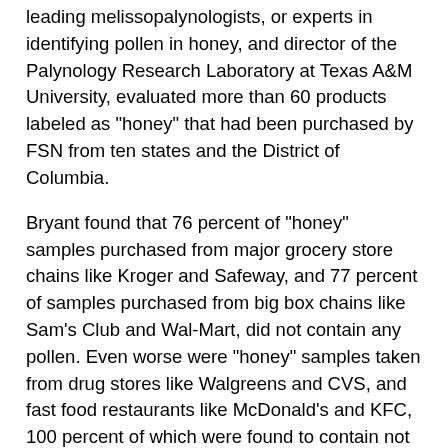leading melissopalynologists, or experts in identifying pollen in honey, and director of the Palynology Research Laboratory at Texas A&M University, evaluated more than 60 products labeled as "honey" that had been purchased by FSN from ten states and the District of Columbia.
Bryant found that 76 percent of "honey" samples purchased from major grocery store chains like Kroger and Safeway, and 77 percent of samples purchased from big box chains like Sam's Club and Wal-Mart, did not contain any pollen. Even worse were "honey" samples taken from drug stores like Walgreens and CVS, and fast food restaurants like McDonald's and KFC, 100 percent of which were found to contain not a trace of pollen.
The full FSN report with a list of all the pollen-less "honey" brands can be accessed here: http://www.foodsafetynews.com/2011/11/tests-...